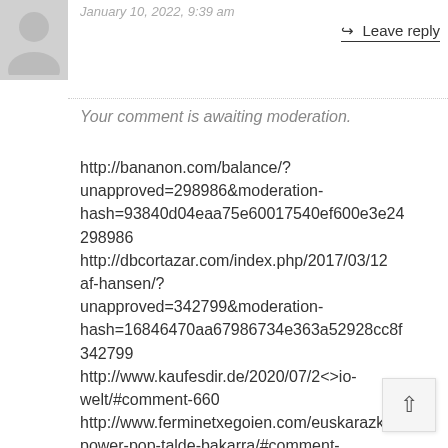[Figure (illustration): Grey placeholder avatar silhouette icon]
January 10, 2022, 9:39 am
→ Leave reply
Your comment is awaiting moderation.
http://bananon.com/balance/?unapproved=298986&moderation-hash=93840d04eaa75e60017540ef600e3e24298986 http://dbcortazar.com/index.php/2017/03/12af-hansen/?unapproved=342799&moderation-hash=16846470aa67986734e363a52928cc8f342799 http://www.kaufesdir.de/2020/07/2...o-welt/#comment-660 http://www.ferminetxegoien.com/euskarazkopower-pop-talde-bakarra/#comment-